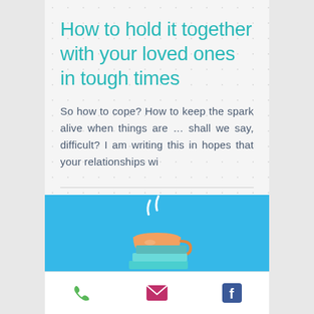How to hold it together with your loved ones in tough times
So how to cope? How to keep the spark alive when things are … shall we say, difficult? I am writing this in hopes that your relationships wi
[Figure (illustration): Blue banner with illustration of a steaming coffee cup sitting on top of a stack of books]
Phone, email, and Facebook navigation icons